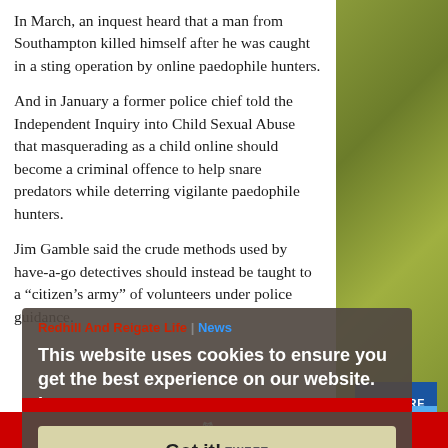In March, an inquest heard that a man from Southampton killed himself after he was caught in a sting operation by online paedophile hunters.
And in January a former police chief told the Independent Inquiry into Child Sexual Abuse that masquerading as a child online should become a criminal offence to help snare predators while deterring vigilante paedophile hunters.
Jim Gamble said the crude methods used by have-a-go detectives should instead be taught to a “citizen’s army” of volunteers under police guidance.
[Figure (screenshot): Cookie consent overlay on a news article page from Redhill And Reigate Life website, showing cookie notice text: 'This website uses cookies to ensure you get the best experience on our website. Learn more' with a 'Got it!' button. Social share buttons (SHARE, TWEET) visible. PIN bar at bottom.]